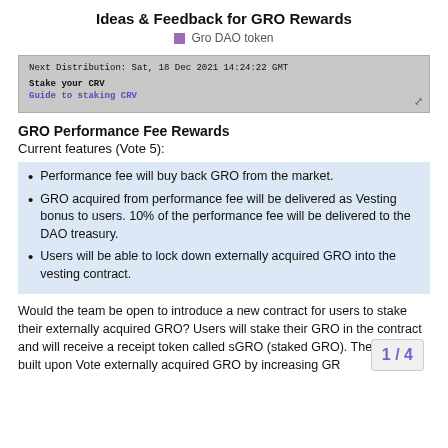Ideas & Feedback for GRO Rewards
Gro DAO token
[Figure (screenshot): Screenshot of a CRV staking interface showing: Next Distribution: Sat, 18 Dec 2021 14:24:22 GMT, Stake your CRV, Guide to staking CRV]
GRO Performance Fee Rewards
Current features (Vote 5):
Performance fee will buy back GRO from the market.
GRO acquired from performance fee will be delivered as Vesting bonus to users. 10% of the performance fee will be delivered to the DAO treasury.
Users will be able to lock down externally acquired GRO into the vesting contract.
Would the team be open to introduce a new contract for users to stake their externally acquired GRO? Users will stake their GRO in the contract and will receive a receipt token called sGRO (staked GRO). The idea is built upon Vote externally acquired GRO by increasing GR